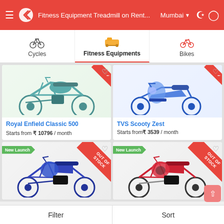Fitness Equipment Treadmill on Rent... Mumbai
Cycles
Fitness Equipments
Bikes
[Figure (photo): Royal Enfield Classic 500 motorcycle in teal/green color]
Royal Enfield Classic 500
Starts from ₹ 10796 / month
[Figure (photo): TVS Scooty Zest blue scooter]
TVS Scooty Zest
Starts from₹ 3539 / month
[Figure (photo): Blue motorcycle labeled New Launch, OUT OF STOCK ribbon]
[Figure (photo): Red/black motorcycle labeled New Launch, OUT OF STOCK ribbon]
Filter   Sort